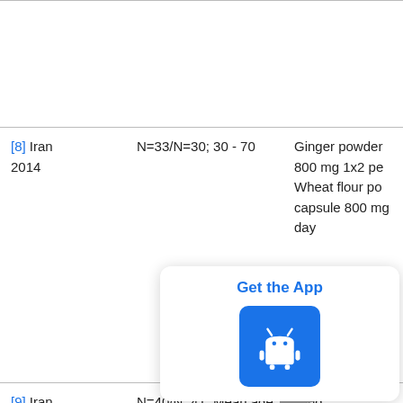| Reference/Country/Year | N/Age | Intervention |
| --- | --- | --- |
| [8] Iran 2014 | N=33/N=30; 30 - 70 | Ginger powder 800 mg 1x2 pe Wheat flour po capsule 800 mg day |
| [9] Iran 2014 | N=40/N=41; Mean age 50 | Ging 1000 Microcrystalline cellulose capsu |